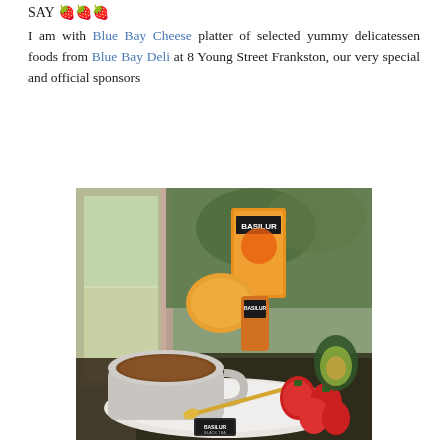SAY 🍓🍓🍓
I am with Blue Bay Cheese platter of selected yummy delicatessen foods from Blue Bay Deli at 8 Young Street Frankston, our very special and official sponsors
[Figure (photo): Photo of a tea cup on a saucer with a golden spoon, strawberries, avocado, orange, and Basilur tea boxes arranged on a table near a window]